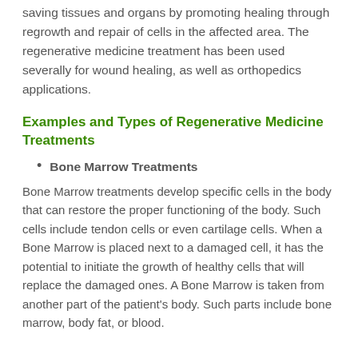issue of transplantation. Instead, the focus is on saving tissues and organs by promoting healing through regrowth and repair of cells in the affected area. The regenerative medicine treatment has been used severally for wound healing, as well as orthopedics applications.
Examples and Types of Regenerative Medicine Treatments
Bone Marrow Treatments
Bone Marrow treatments develop specific cells in the body that can restore the proper functioning of the body. Such cells include tendon cells or even cartilage cells. When a Bone Marrow is placed next to a damaged cell, it has the potential to initiate the growth of healthy cells that will replace the damaged ones. A Bone Marrow is taken from another part of the patient's body. Such parts include bone marrow, body fat, or blood.